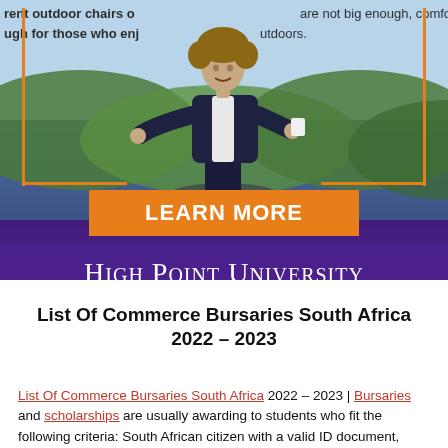[Figure (photo): A man with curly hair in a dark blazer presenting/speaking on stage with a landscape mural background. An orange decorative border frame is visible. Text overlay at top reads: 'rent outdoor chairs or are not big enough, comfortable ugh for those who enj outdoors.']
LEARN MORE
HIGH POINT UNIVERSITY
List Of Commerce Bursaries South Africa 2022 – 2023
List Of Commerce Bursaries South Africa 2022 – 2023 | Bursaries and scholarships are usually awarding to students who fit the following criteria: South African citizen with a valid ID document, achieved good results in Matric (particularly in Mathematics,